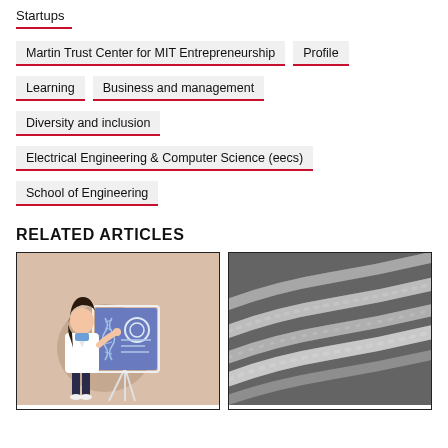Startups
Martin Trust Center for MIT Entrepreneurship
Profile
Learning
Business and management
Diversity and inclusion
Electrical Engineering & Computer Science (eecs)
School of Engineering
RELATED ARTICLES
[Figure (illustration): Illustration of a woman in a white lab coat presenting at a board with DNA and scientific graphics on it, set against a beige background]
[Figure (photo): Grayscale electron microscope image of fibrous or wire-like structures arranged diagonally]